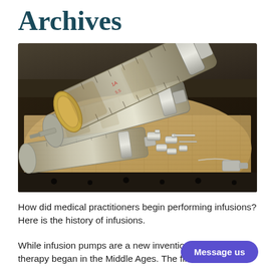Archives
[Figure (photo): Antique glass and metal syringes with metal needle tips and connectors, arranged on burlap cloth inside a dark wooden case]
How did medical practitioners begin performing infusions? Here is the history of infusions.
While infusion pumps are a new invention, intravenous therapy began in the Middle Ages. The first infusion...